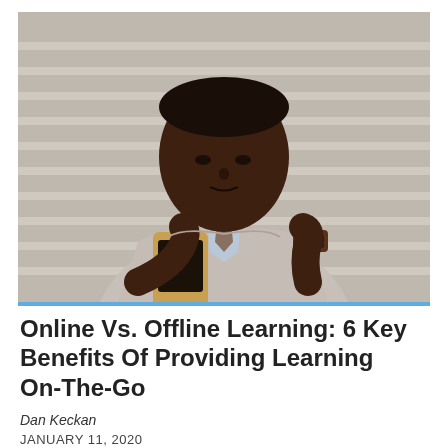[Figure (photo): A young Black man in a light grey suit and tie, looking down at his smartphone while checking his watch, standing outdoors in front of a building with horizontal lines.]
Online Vs. Offline Learning: 6 Key Benefits Of Providing Learning On-The-Go
Dan Keckan
JANUARY 11, 2020